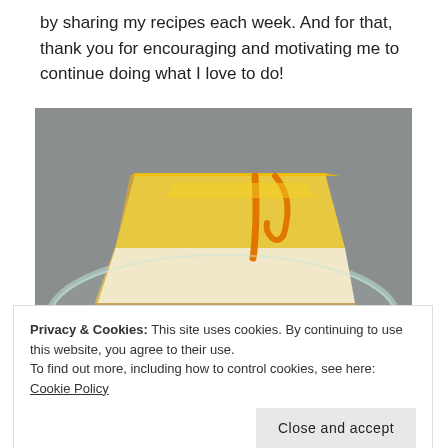by sharing my recipes each week. And for that, thank you for encouraging and motivating me to continue doing what I love to do!
[Figure (photo): A triangular slice of cake or pastry with yellow/orange glaze drizzled on top, sitting on a glass plate on a grey surface.]
Privacy & Cookies: This site uses cookies. By continuing to use this website, you agree to their use.
To find out more, including how to control cookies, see here: Cookie Policy
[Close and accept]
– Ally xx